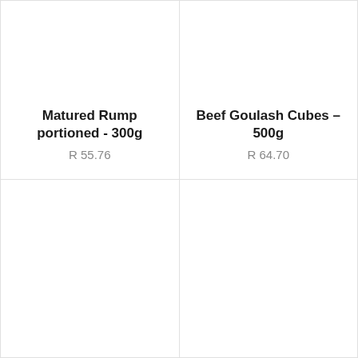Matured Rump portioned - 300g
R 55.76
Beef Goulash Cubes - 500g
R 64.70